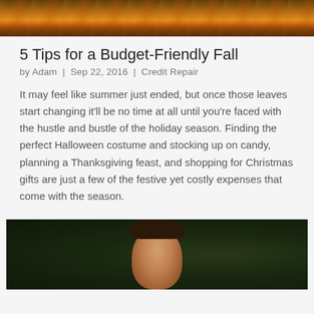[Figure (photo): Autumn forest scene with fallen orange and red leaves on the ground, trees in background with sunlight filtering through]
5 Tips for a Budget-Friendly Fall
by Adam | Sep 22, 2016 | Credit Repair
It may feel like summer just ended, but once those leaves start changing it'll be no time at all until you're faced with the hustle and bustle of the holiday season. Finding the perfect Halloween costume and stocking up on candy, planning a Thanksgiving feast, and shopping for Christmas gifts are just a few of the festive yet costly expenses that come with the season.
[Figure (photo): Portrait of a woman with braided hair against a dark green background, cropped to show face and upper shoulders]